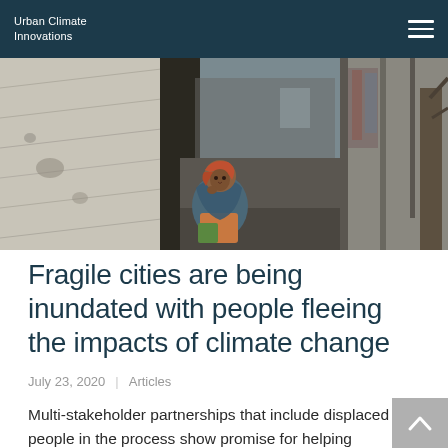Urban Climate Innovations
[Figure (photo): A woman wrapped in a colorful shawl sits crouched at the entrance of a makeshift shelter in an informal settlement, surrounded by tarpaulins and wooden poles forming a narrow alley.]
Fragile cities are being inundated with people fleeing the impacts of climate change
July 23, 2020   Articles
Multi-stakeholder partnerships that include displaced people in the process show promise for helping overwhelmed communities deal